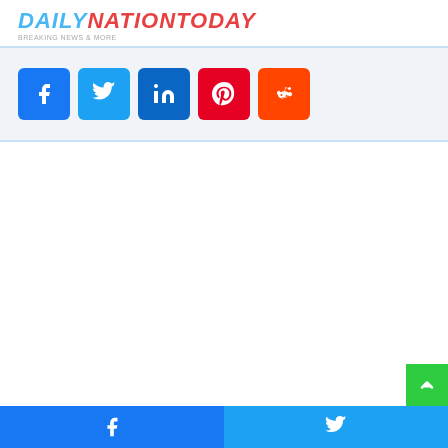DAILYNATIONTODAY
[Figure (other): Row of social media share buttons: Facebook (blue), Twitter (light blue), LinkedIn (dark blue), Pinterest (red), Reddit (orange-red)]
[Figure (other): Green scroll-to-top button with upward chevron arrow in bottom-right corner]
Footer with Facebook and Twitter share buttons in blue